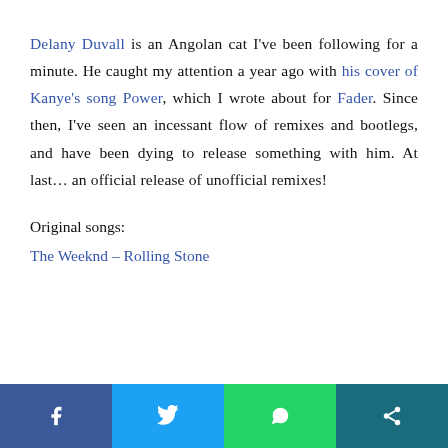Delany Duvall is an Angolan cat I've been following for a minute. He caught my attention a year ago with his cover of Kanye's song Power, which I wrote about for Fader. Since then, I've seen an incessant flow of remixes and bootlegs, and have been dying to release something with him. At last… an official release of unofficial remixes!
Original songs:
The Weeknd – Rolling Stone